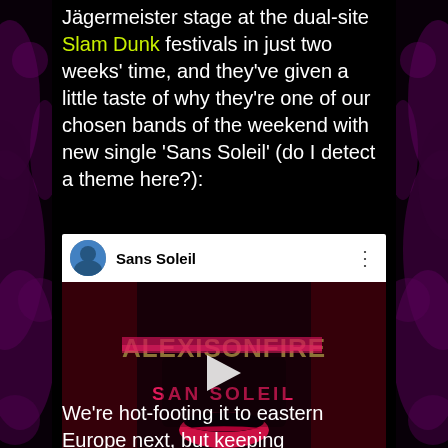Jägermeister stage at the dual-site Slam Dunk festivals in just two weeks' time, and they've given a little taste of why they're one of our chosen bands of the weekend with new single 'Sans Soleil' (do I detect a theme here?):
[Figure (screenshot): YouTube embed showing a music video titled 'Sans Soleil' by Alexisonfire. The thumbnail shows the band name ALEXISONFIRE in large gold letters with pink/red graphic design elements including lips. A play button is visible in the center.]
We're hot-footing it to eastern Europe next, but keeping